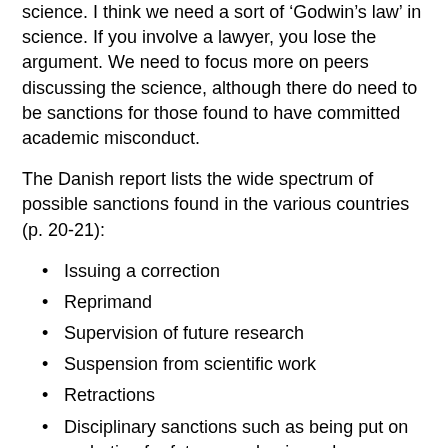science. I think we need a sort of 'Godwin's law' in science. If you involve a lawyer, you lose the argument. We need to focus more on peers discussing the science, although there do need to be sanctions for those found to have committed academic misconduct.
The Danish report lists the wide spectrum of possible sanctions found in the various countries (p. 20-21):
Issuing a correction
Reprimand
Supervision of future research
Suspension from scientific work
Retractions
Disciplinary sanctions such as being put on probation for future academic work
Rescinding of academic titles
Rescinding of the right to advise PhD students
Withdrawal of internal resources
Repayment of research funding